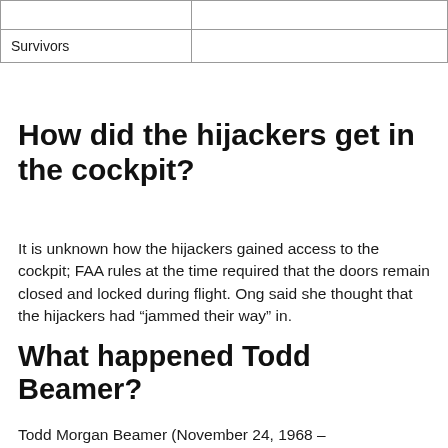|  |  |
| Survivors |  |
How did the hijackers get in the cockpit?
It is unknown how the hijackers gained access to the cockpit; FAA rules at the time required that the doors remain closed and locked during flight. Ong said she thought that the hijackers had “jammed their way” in.
What happened Todd Beamer?
Todd Morgan Beamer (November 24, 1968 –